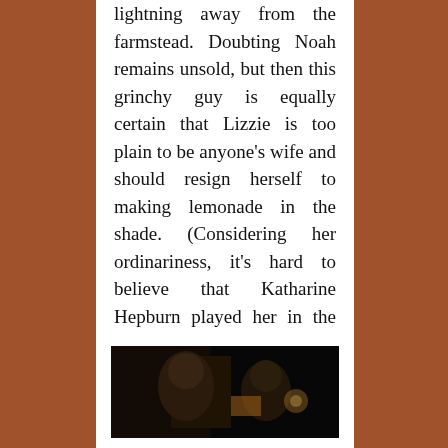lightning away from the farmstead. Doubting Noah remains unsold, but then this grinchy guy is equally certain that Lizzie is too plain to be anyone's wife and should resign herself to making lemonade in the shade. (Considering her ordinariness, it's hard to believe that Katharine Hepburn played her in the film, opposite a charm-laden Burt Lancaster.)
[Figure (photo): A dark photograph showing two people, partially visible, with warm amber/candlelight tones in the background against a dark setting.]